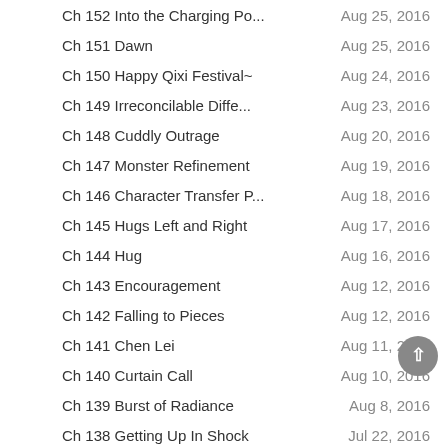Ch 152 Into the Charging Po...	Aug 25, 2016
Ch 151 Dawn	Aug 25, 2016
Ch 150 Happy Qixi Festival~	Aug 24, 2016
Ch 149 Irreconcilable Diffe...	Aug 23, 2016
Ch 148 Cuddly Outrage	Aug 20, 2016
Ch 147 Monster Refinement	Aug 19, 2016
Ch 146 Character Transfer P...	Aug 18, 2016
Ch 145 Hugs Left and Right	Aug 17, 2016
Ch 144 Hug	Aug 16, 2016
Ch 143 Encouragement	Aug 12, 2016
Ch 142 Falling to Pieces	Aug 12, 2016
Ch 141 Chen Lei	Aug 11, 2016
Ch 140 Curtain Call	Aug 10, 2016
Ch 139 Burst of Radiance	Aug 8, 2016
Ch 138 Getting Up In Shock	Jul 22, 2016
Ch 137 Spit Back Out	Jul 21, 2016
Ch 136 Through Education	Jul 20, 2016